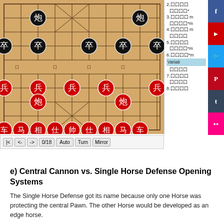[Figure (illustration): Xiangqi (Chinese chess) board showing starting position variant with pieces labeled in Chinese characters. Black pieces at top, Red pieces at bottom. Navigation controls below board (|<, <-, ->, 0/18, Auto, Turn, Mirror buttons). Move list to the right with numbered moves. Social media buttons (Facebook, YouTube, Twitter, Pinterest, Tumblr, Flickr) on far right.]
e) Central Cannon vs. Single Horse Defense Opening Systems
The Single Horse Defense got its name because only one Horse was protecting the central Pawn. The other Horse would be developed as an edge horse.
This opening system has waned in popularity since the 1950s as